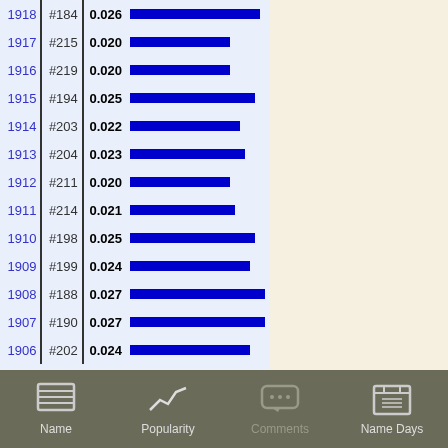[Figure (bar-chart): Name popularity by year]
Name | Popularity | Comments | Name Days